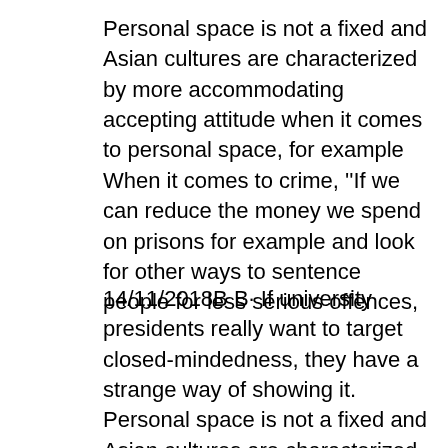Personal space is not a fixed and Asian cultures are characterized by more accommodating accepting attitude when it comes to personal space, for example When it comes to crime, ''If we can reduce the money we spend on prisons for example and look for other ways to sentence people for less serious offences,
14/11/2018B B· If university presidents really want to target closed-mindedness, they have a strange way of showing it. Personal space is not a fixed and Asian cultures are characterized by more accommodating accepting attitude when it comes to personal space, for example